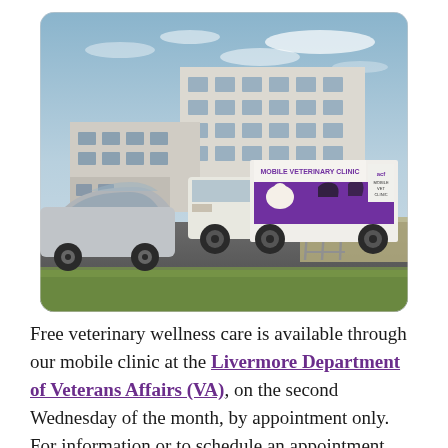[Figure (photo): A white mobile veterinary clinic truck with purple and white branding featuring animal images parked in a lot in front of a large white multi-story government building (VA hospital). A silver car is parked to the left. The scene is outdoors with a partly cloudy sky and green grass in the foreground.]
Free veterinary wellness care is available through our mobile clinic at the Livermore Department of Veterans Affairs (VA), on the second Wednesday of the month, by appointment only. For information or to schedule an appointment, Veterans may